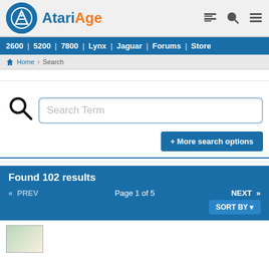AtariAge
2600 | 5200 | 7800 | Lynx | Jaguar | Forums | Store
Home > Search
Search Term
+ More search options
Found 102 results
<< PREV    Page 1 of 5    NEXT >>
SORT BY